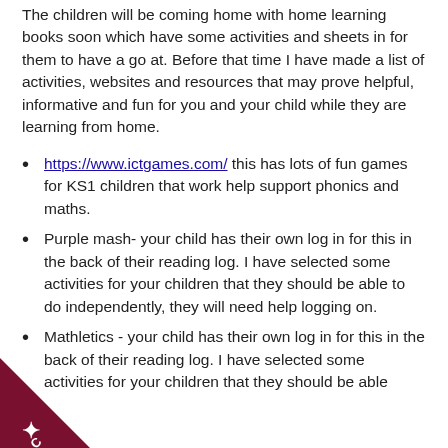The children will be coming home with home learning books soon which have some activities and sheets in for them to have a go at. Before that time I have made a list of activities, websites and resources that may prove helpful, informative and fun for you and your child while they are learning from home.
https://www.ictgames.com/ this has lots of fun games for KS1 children that work help support phonics and maths.
Purple mash- your child has their own log in for this in the back of their reading log. I have selected some activities for your children that they should be able to do independently, they will need help logging on.
Mathletics - your child has their own log in for this in the back of their reading log. I have selected some activities for your children that they should be able